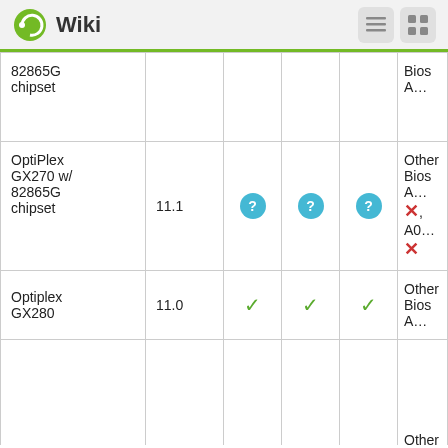Wiki
| Model | Version | Col3 | Col4 | Col5 | Notes |
| --- | --- | --- | --- | --- | --- |
| 82865G chipset |  |  |  |  | Bios A… |
| OptiPlex GX270 w/ 82865G chipset | 11.1 | ? | ? | ? | Other Bios A… ✗, A0… ✗ |
| Optiplex GX280 | 11.0 | ✓ | ✓ | ✓ | Other Bios A… |
| Optiplex | 10.1 | ✓ | ✓ | ✓ | Other Bios A… |